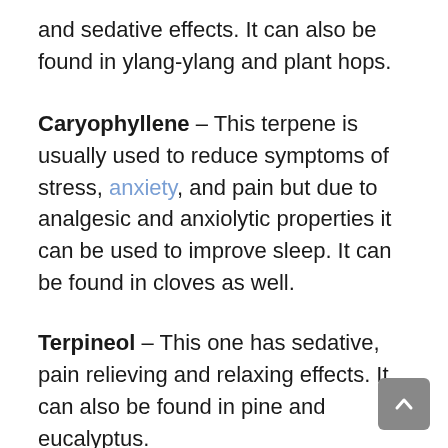and sedative effects. It can also be found in ylang-ylang and plant hops.
Caryophyllene – This terpene is usually used to reduce symptoms of stress, anxiety, and pain but due to analgesic and anxiolytic properties it can be used to improve sleep. It can be found in cloves as well.
Terpineol – This one has sedative, pain relieving and relaxing effects. It can also be found in pine and eucalyptus.